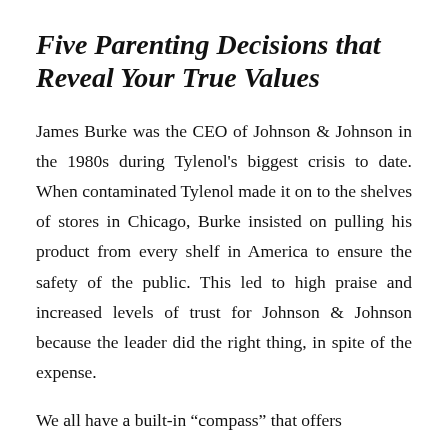Five Parenting Decisions that Reveal Your True Values
James Burke was the CEO of Johnson & Johnson in the 1980s during Tylenol's biggest crisis to date. When contaminated Tylenol made it on to the shelves of stores in Chicago, Burke insisted on pulling his product from every shelf in America to ensure the safety of the public. This led to high praise and increased levels of trust for Johnson & Johnson because the leader did the right thing, in spite of the expense.
We all have a built-in “compass” that offers